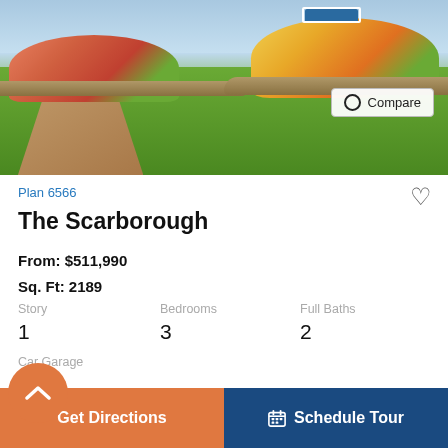[Figure (photo): Exterior photo of a new home with landscaped garden featuring colorful flowers, green lawn, stone pathway, and a real estate sign in the background.]
Compare
Plan 6566
The Scarborough
From: $511,990
Sq. Ft: 2189
Story
1
Bedrooms
3
Full Baths
2
Car Garage
2 - 3
Share
Get Directions
Schedule Tour